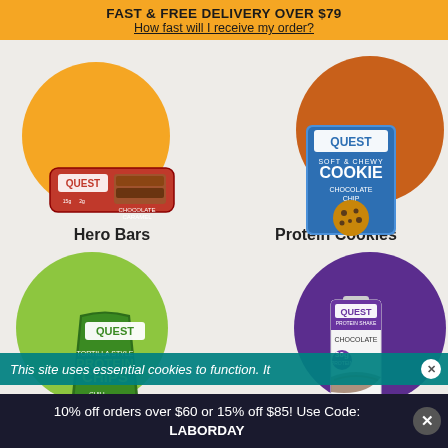FAST & FREE DELIVERY OVER $79
How fast will I receive my order?
[Figure (photo): Quest Hero Bar product in orange circle]
Hero Bars
[Figure (photo): Quest Protein Cookie product in brown circle]
Protein Cookies
[Figure (photo): Quest Protein Chips bag in green circle]
Protein Chips
[Figure (photo): Quest Protein Shake carton in purple circle]
Protein Shakes
This site uses essential cookies to function. It
10% off orders over $60 or 15% off $85! Use Code: LABORDAY